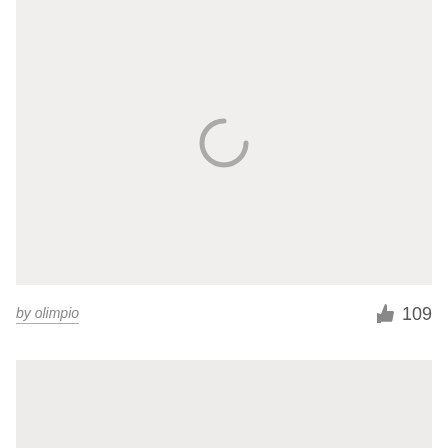[Figure (other): Large placeholder image area with a loading spinner icon (letter C shape) centered on a light gray background]
by olimpio
109
[Figure (other): Partial placeholder image area at the bottom, light gray background, content not loaded]